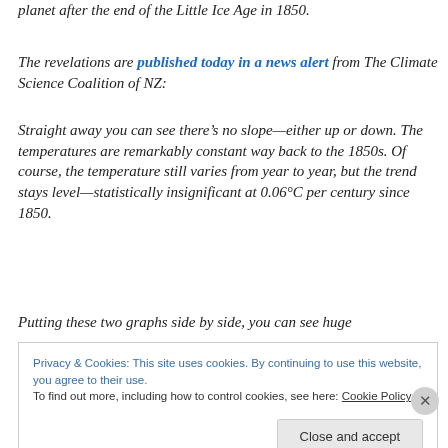planet after the end of the Little Ice Age in 1850.
The revelations are published today in a news alert from The Climate Science Coalition of NZ:
Straight away you can see there’s no slope—either up or down. The temperatures are remarkably constant way back to the 1850s. Of course, the temperature still varies from year to year, but the trend stays level—statistically insignificant at 0.06°C per century since 1850.
Putting these two graphs side by side, you can see huge
Privacy & Cookies: This site uses cookies. By continuing to use this website, you agree to their use.
To find out more, including how to control cookies, see here: Cookie Policy